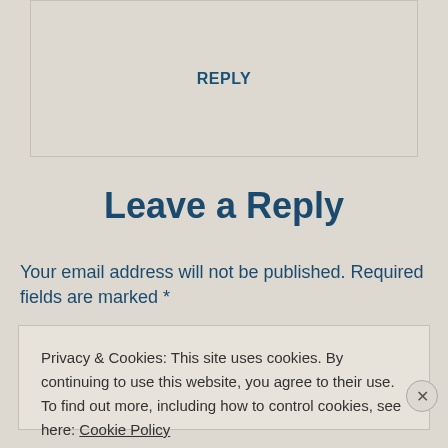REPLY
Leave a Reply
Your email address will not be published. Required fields are marked *
Privacy & Cookies: This site uses cookies. By continuing to use this website, you agree to their use. To find out more, including how to control cookies, see here: Cookie Policy
Close and accept